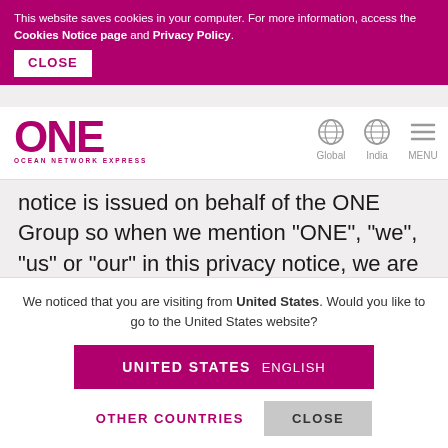This website saves cookies in your computer. For more information, access the Cookies Notice page and Privacy Policy.
CLOSE
[Figure (logo): ONE Ocean Network Express logo with globe icon (Global), globe icon (India), and hamburger menu (MENU)]
notice is issued on behalf of the ONE Group so when we mention "ONE", "we", "us" or "our" in this privacy notice, we are referring to the relevant company in the ONE Group responsible for processing your data. Ocean Network Express Pte. Ltd. is the controller and responsible for this website.
We noticed that you are visiting from United States. Would you like to go to the United States website?
UNITED STATES  ENGLISH
OTHER COUNTRIES
CLOSE